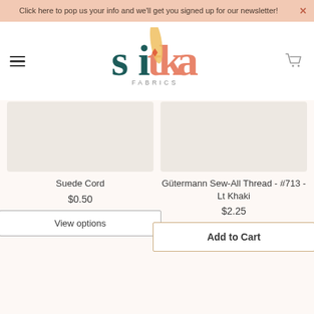Click here to pop us your info and we'll get you signed up for our newsletter!
[Figure (logo): Sitka Fabrics logo with colorful lettering and fabric/figure illustration]
Suede Cord
$0.50
View options
Gütermann Sew-All Thread - #713 - Lt Khaki
$2.25
Add to Cart